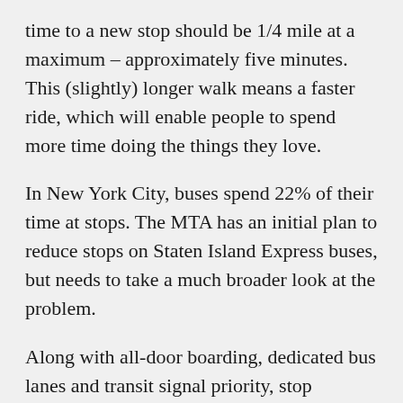time to a new stop should be 1/4 mile at a maximum – approximately five minutes. This (slightly) longer walk means a faster ride, which will enable people to spend more time doing the things they love.
In New York City, buses spend 22% of their time at stops. The MTA has an initial plan to reduce stops on Staten Island Express buses, but needs to take a much broader look at the problem.
Along with all-door boarding, dedicated bus lanes and transit signal priority, stop balancing can help to make transit that's worth walking to.